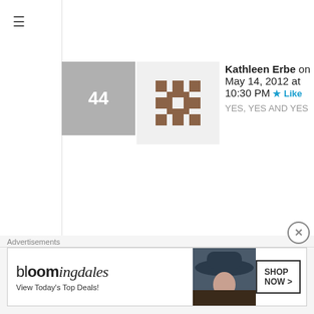[Figure (screenshot): Hamburger menu icon (three horizontal lines) in top-left sidebar]
44 — Kathleen Erbe on May 14, 2012 at 10:30 PM — Like — YES, YES AND YES
45 — Sawsan@ Chef in disguise on May 14, 2012 at 10:31 PM — Like — 🙂
46 — Eva Taylor on July 11, 2012
Advertisements
[Figure (screenshot): Bloomingdale's advertisement banner: 'View Today's Top Deals!' with SHOP NOW > button]